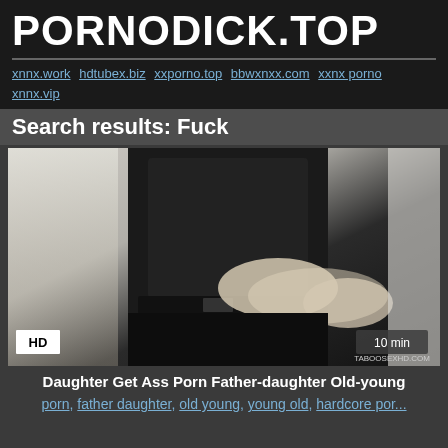PORNODICK.TOP
xnnx.work hdtubex.biz xxporno.top bbwxnxx.com xxnx porno xnnx.vip
Search results: Fuck
[Figure (photo): Video thumbnail showing a person in black shirt and pants, with HD badge and 10 min duration, watermark TABOOSEXHD.COM]
Daughter Get Ass Porn Father-daughter Old-young
porn, father daughter, old young, young old, hardcore por...